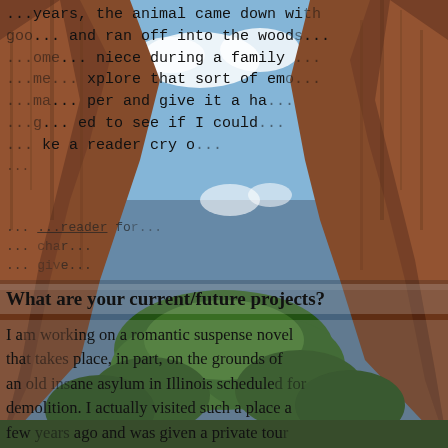[Figure (photo): Photograph of a canyon with tall red rock walls, lush green trees in the middle ground, and a partly cloudy blue sky. Text is overlaid on the image.]
...years, the animal came down with good... and ran off into the woods. ...niece during a family ...explore that sort of emo... ...make proper and give it a ha... ...longing...d to see if I could... ...make a reader cry o...
What are your current/future projects?
I am working on a romantic suspense novel that takes place, in part, on the grounds of an old insane asylum in Illinois scheduled for demolition. I actually visited such a place a few years ago and was given a private tour...